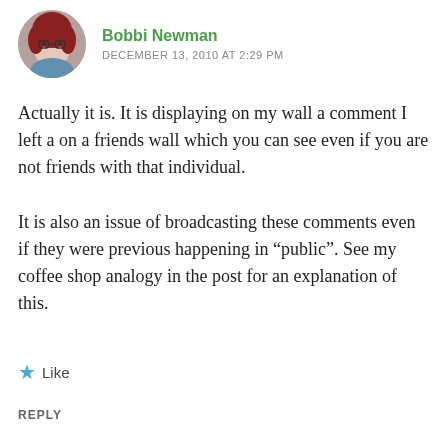[Figure (photo): Circular avatar photo of a woman with red hair and glasses]
Bobbi Newman
DECEMBER 13, 2010 AT 2:29 PM
Actually it is. It is displaying on my wall a comment I left a on a friends wall which you can see even if you are not friends with that individual.
It is also an issue of broadcasting these comments even if they were previous happening in “public”. See my coffee shop analogy in the post for an explanation of this.
★ Like
REPLY